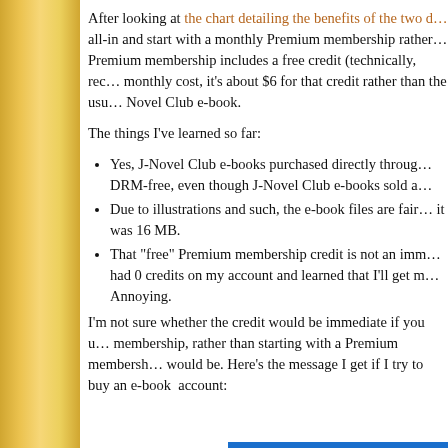After looking at the chart detailing the benefits of the two d... all-in and start with a monthly Premium membership rather... Premium membership includes a free credit (technically, rec... monthly cost, it's about $6 for that credit rather than the usu... Novel Club e-book.
The things I've learned so far:
Yes, J-Novel Club e-books purchased directly through... DRM-free, even though J-Novel Club e-books sold a...
Due to illustrations and such, the e-book files are fairl... it was 16 MB.
That "free" Premium membership credit is not an imm... had 0 credits on my account and learned that I'll get m... Annoying.
I'm not sure whether the credit would be immediate if you u... membership, rather than starting with a Premium membersh... would be. Here's the message I get if I try to buy an e-book... account:
[Figure (screenshot): Blue bar visible at bottom right of page, partial screenshot of a UI element]